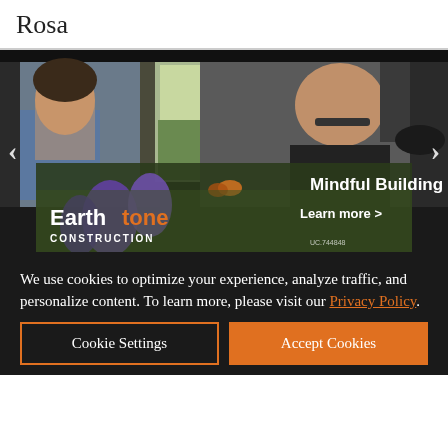Rosa
[Figure (photo): Screenshot of a website named Rosa showing a carousel with two people working in a food truck kitchen, overlaid with an advertisement banner for Earthtone Construction reading 'Mindful Building' and 'Learn more >' with navigation arrows on either side.]
We use cookies to optimize your experience, analyze traffic, and personalize content. To learn more, please visit our Privacy Policy.
Cookie Settings
Accept Cookies